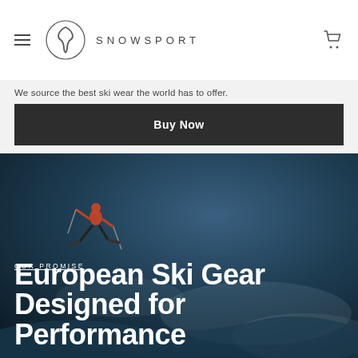SNOWSPORT
We source the best ski wear the world has to offer.
Buy Now
[Figure (photo): Hero image of a skier in mid-air against a dark blue winter sky background]
OUR PROMISE
European Ski Gear Designed for Performance